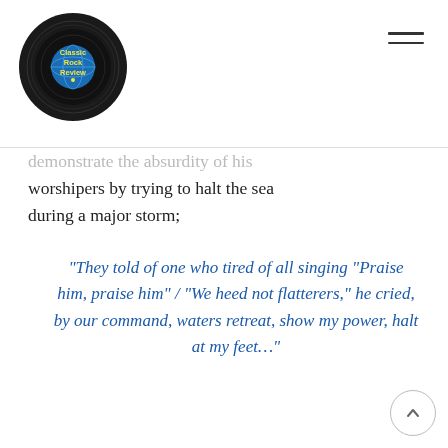Classic Rock Review
demonstrate the absurdity of his worshipers by trying to halt the sea during a major storm;
“They told of one who tired of all singing “Praise him, praise him” / “We heed not flatterers,” he cried, by our command, waters retreat, show my power, halt at my feet…”
The song starts as a top-notch folk song, led by the pastoral guitars of Hackett and the dynamic vocals of Gabriel, but later morphs into a classic prog-rock jam led